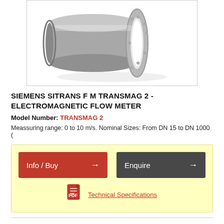[Figure (photo): Siemens SITRANS F M TRANSMAG 2 electromagnetic flow meter product photo showing a cylindrical grey metal sensor with a white ceramic/plastic insert and flanged end with bolt holes]
SIEMENS SITRANS F M TRANSMAG 2 - ELECTROMAGNETIC FLOW METER
Model Number: TRANSMAG 2
Meassuring range: 0 to 10 m/s. Nominal Sizes: From DN 15 to DN 1000 (